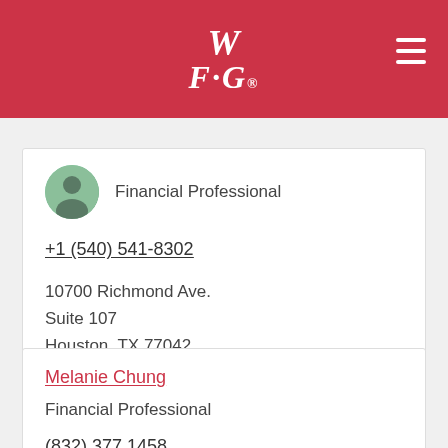[Figure (logo): WFG (World Financial Group) logo in white on red background header bar]
Financial Professional
+1 (540) 541-8302
10700 Richmond Ave.
Suite 107
Houston, TX 77042
Schedule an Appointment >
Melanie Chung
Financial Professional
(832) 377 1458